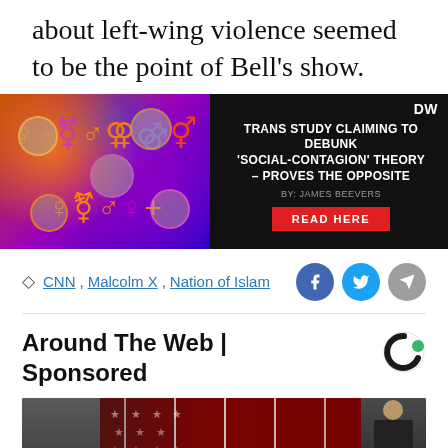about left-wing violence seemed to be the point of Bell's show.
[Figure (photo): Advertisement banner with dark background. Left side shows colorful gender symbols overlaid with faces. Right side on dark background reads: 'TRANS STUDY CLAIMING TO DEBUNK "SOCIAL-CONTAGION" THEORY – PROVES THE OPPOSITE' by James Beevers, with a red 'READ HERE' button and DW logo.]
CNN, Malcolm X, Nation of Islam
Around The Web | Sponsored
[Figure (photo): Partial photo showing people in front of American flags, appears to be a political event.]